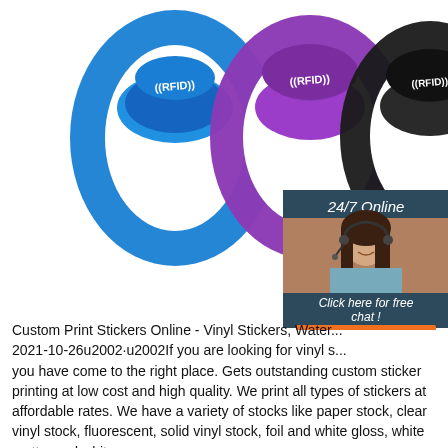[Figure (photo): Three RFID silicone wristbands in blue, purple, and black, each with RFID logo printed on them, displayed overlapping each other. A chat widget is shown on the right side with '24/7 Online' text, a female customer service agent with headset, 'Click here for free chat!' text, and an orange QUOTATION button.]
Custom Print Stickers Online - Vinyl Stickers, Water... 2021-10-26u2002·u2002If you are looking for vinyl s... you have come to the right place. Gets outstanding custom sticker printing at low cost and high quality. We print all types of stickers at affordable rates. We have a variety of stocks like paper stock, clear vinyl stock, fluorescent, solid vinyl stock, foil and white gloss, white matte, and white ...